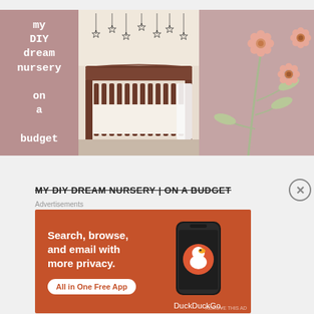[Figure (photo): Hero image collage: left panel with mauve background and white text 'my DIY dream nursery on a budget', center panel with photo of dark wood baby crib with star mobile and white blanket, right panel with mauve background and illustrated pink flowers with green leaves]
MY DIY DREAM NURSERY | ON A BUDGET
Advertisements
[Figure (screenshot): DuckDuckGo advertisement on orange/terracotta background. Text: 'Search, browse, and email with more privacy. All in One Free App' with DuckDuckGo logo and phone graphic.]